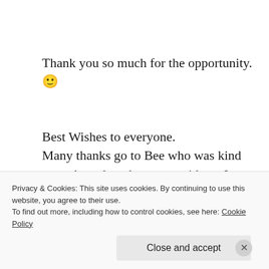Thank you so much for the opportunity. 🙂
Best Wishes to everyone.
Many thanks go to Bee who was kind enough to share her story with us. I have added some links in case anyone wants to understand in greater detail some of the issues discussed by Bee in her blog post.
Privacy & Cookies: This site uses cookies. By continuing to use this website, you agree to their use.
To find out more, including how to control cookies, see here: Cookie Policy
Close and accept